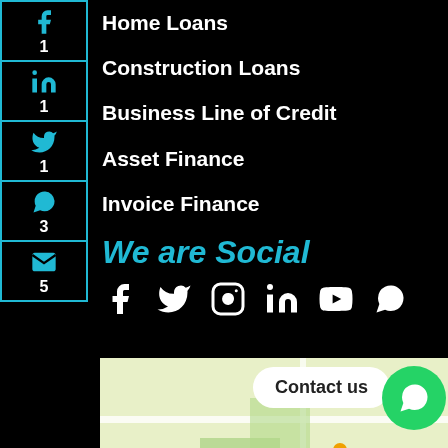Home Loans
Construction Loans
Business Line of Credit
Asset Finance
Invoice Finance
We are Social
[Figure (infographic): Social media icons row: Facebook, Twitter, Instagram, LinkedIn, YouTube, WhatsApp]
[Figure (map): Map showing Schofields area with The Ponds High School marker]
Contact us